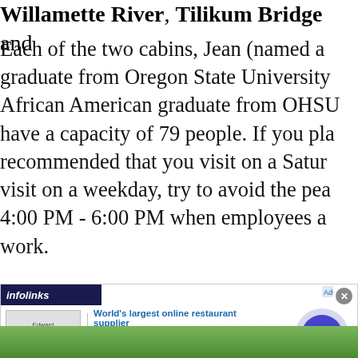Willamette River, Tilikum Bridge and...
Each of the two cabins, Jean (named a... graduate from Oregon State University... African American graduate from OHSU... have a capacity of 79 people. If you pla... recommended that you visit on a Satur... visit on a weekday, try to avoid the pea... 4:00 PM - 6:00 PM when employees a... work.
[Figure (screenshot): Infolinks advertisement banner for World's largest online restaurant supplier (www.webstaurantstore.com) with logo, blue arrow button, and close button]